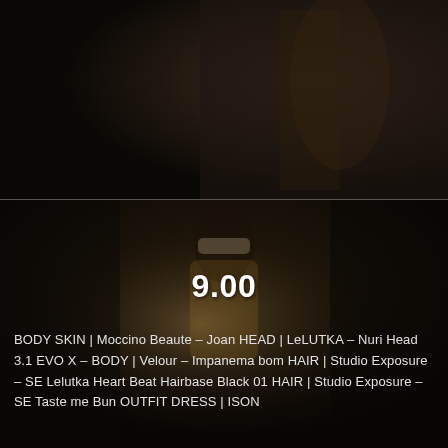BOTTOM | Blueberry – Blessed pleated skirt
JACKET | Blueberry – Blessed jacket – wrap [...]
Read More
[Figure (photo): Dark background photo of a 3D avatar character with dark hair, wearing a black jacket, against a dark urban background with yellow/orange tones]
9.00
[Figure (photo): Dark photo of a 3D avatar female character with hair in a bun and large white/cream sunglasses, wearing a yellow/mustard outfit, in a dark urban setting]
BODY SKIN | Moccino Beaute – Joan HEAD | LeLUTKA – Nuri Head 3.1 EVO X – BODY | Velour – Impanema bom HAIR | Studio Exposure – SE Lelutka Heart Beat Hairbase Black 01 HAIR | Studio Exposure – SE Taste me Bun OUTFIT DRESS | ISON